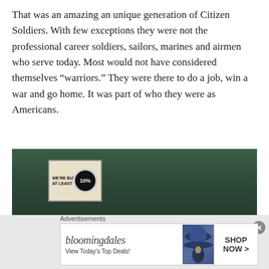That was an amazing an unique generation of Citizen Soldiers. With few exceptions they were not the professional career soldiers, sailors, marines and airmen who serve today. Most would not have considered themselves “warriors.” They were there to do a job, win a war and go home. It was part of who they were as Americans.
[Figure (photo): Vintage WWII-era propaganda image on a dark green background showing text 'IS MY FIGHT TOO!' in large bold letters and a sign reading 'WE'RE BUYING AT LEAST 10%' with a circular emblem.]
Advertisements
[Figure (screenshot): Bloomingdale's advertisement banner with logo, text 'View Today's Top Deals!', image of woman with blue hat, and 'SHOP NOW >' button.]